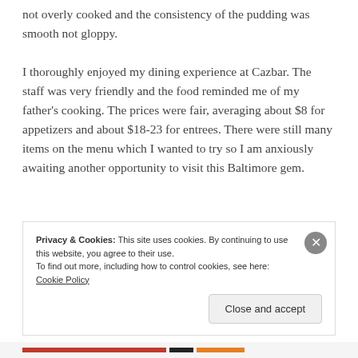not overly cooked and the consistency of the pudding was smooth not gloppy.

I thoroughly enjoyed my dining experience at Cazbar. The staff was very friendly and the food reminded me of my father's cooking. The prices were fair, averaging about $8 for appetizers and about $18-23 for entrees. There were still many items on the menu which I wanted to try so I am anxiously awaiting another opportunity to visit this Baltimore gem.
Privacy & Cookies: This site uses cookies. By continuing to use this website, you agree to their use.
To find out more, including how to control cookies, see here: Cookie Policy
Close and accept